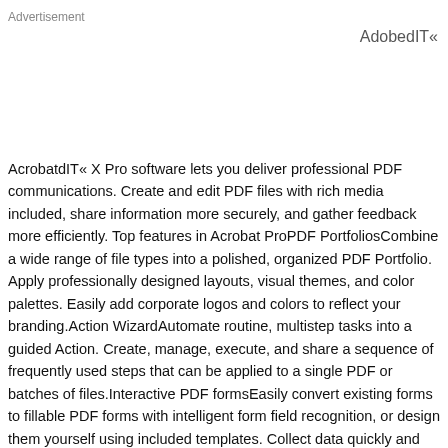Advertisement
AdobedIT«
AcrobatdIT« X Pro software lets you deliver professional PDF communications. Create and edit PDF files with rich media included, share information more securely, and gather feedback more efficiently. Top features in Acrobat ProPDF PortfoliosCombine a wide range of file types into a polished, organized PDF Portfolio. Apply professionally designed layouts, visual themes, and color palettes. Easily add corporate logos and colors to reflect your branding.Action WizardAutomate routine, multistep tasks into a guided Action. Create, manage, execute, and share a sequence of frequently used steps that can be applied to a single PDF or batches of files.Interactive PDF formsEasily convert existing forms to fillable PDF forms with intelligent form field recognition, or design them yourself using included templates. Collect data quickly and export to spreadsheets for analysis. Track and manage